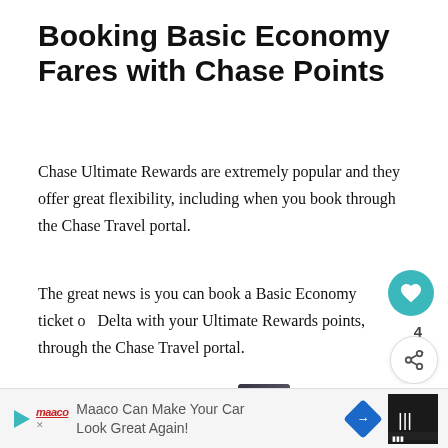Booking Basic Economy Fares with Chase Points
Chase Ultimate Rewards are extremely popular and they offer great flexibility, including when you book through the Chase Travel portal.
The great news is you can book a Basic Economy ticket on Delta with your Ultimate Rewards points, through the Chase Travel portal.
In this example, flying from Los Angeles to Miami (MIA), a basic economy fare with 1 stop would cost $344.10.
Maaco Can Make Your Car Look Great Again!